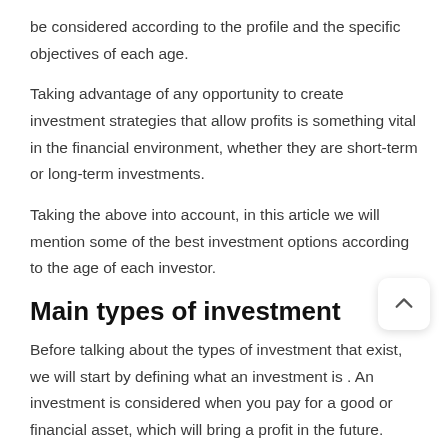be considered according to the profile and the specific objectives of each age.
Taking advantage of any opportunity to create investment strategies that allow profits is something vital in the financial environment, whether they are short-term or long-term investments.
Taking the above into account, in this article we will mention some of the best investment options according to the age of each investor.
Main types of investment
Before talking about the types of investment that exist, we will start by defining what an investment is . An investment is considered when you pay for a good or financial asset, which will bring a profit in the future.
In short, an investment is when you put your money to work